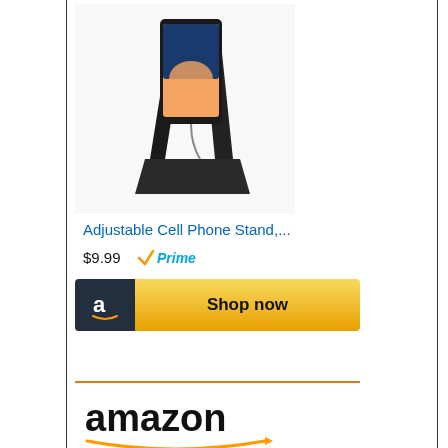[Figure (photo): Black adjustable cell phone desk stand with a smartphone displayed on it]
Adjustable Cell Phone Stand,...
$9.99  Prime
[Figure (other): Amazon Shop now button with orange/gold background and Amazon logo]
[Figure (logo): Amazon logo with smile arrow]
[Figure (photo): Gold metallic bike phone mount holder showing a smartphone mounted on it]
FENXIXI Bike